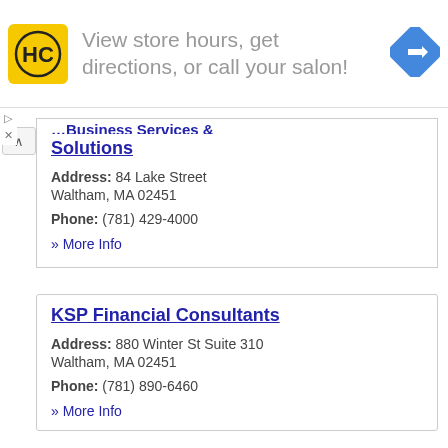[Figure (other): Advertisement banner for HC salon with yellow logo, text 'View store hours, get directions, or call your salon!' and a blue navigation arrow icon. Small close/dismiss controls at bottom left.]
...Business Services & Solutions
Address: 84 Lake Street
Waltham, MA 02451
Phone: (781) 429-4000
» More Info
KSP Financial Consultants
Address: 880 Winter St Suite 310
Waltham, MA 02451
Phone: (781) 890-6460
» More Info